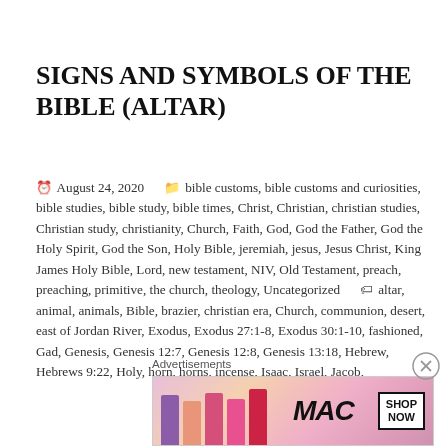SIGNS AND SYMBOLS OF THE BIBLE (ALTAR)
August 24, 2020   bible customs, bible customs and curiosities, bible studies, bible study, bible times, Christ, Christian, christian studies, Christian study, christianity, Church, Faith, God, God the Father, God the Holy Spirit, God the Son, Holy Bible, jeremiah, jesus, Jesus Christ, King James Holy Bible, Lord, new testament, NIV, Old Testament, preach, preaching, primitive, the church, theology, Uncategorized   altar, animal, animals, Bible, brazier, christian era, Church, communion, desert, east of Jordan River, Exodus, Exodus 27:1-8, Exodus 30:1-10, fashioned, Gad, Genesis, Genesis 12:7, Genesis 12:8, Genesis 13:18, Hebrew, Hebrews 9:22, Holy, horn, horns, incense, Isaac, Israel, Jacob,
Advertisements
[Figure (photo): MAC Cosmetics lipstick advertisement showing colorful lipsticks and SHOP NOW button]